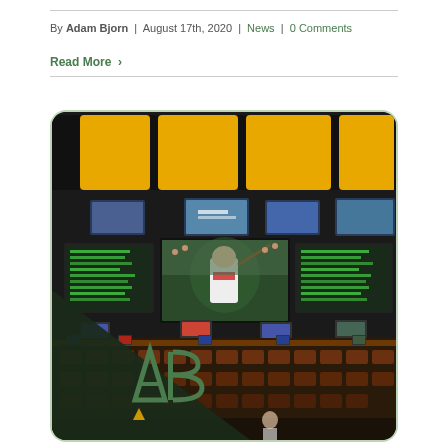By Adam Bjorn | August 17th, 2020 | News | 0 Comments
Read More >
[Figure (photo): Interior of a sports book / betting lounge with large screens showing baseball game and odds boards, amber ceiling panels, rows of seating with individual monitors. An 'AB' logo (Adam Bjorn) in green and gold is overlaid on a dark triangular graphic in the lower left corner.]